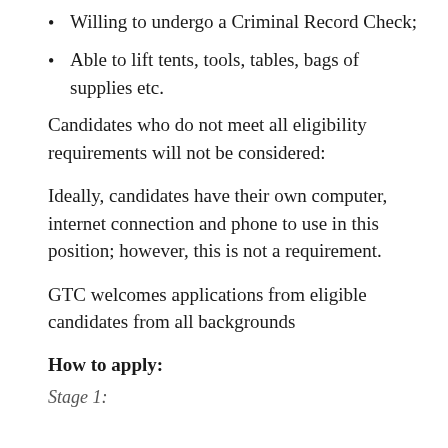Willing to undergo a Criminal Record Check;
Able to lift tents, tools, tables, bags of supplies etc.
Candidates who do not meet all eligibility requirements will not be considered:
Ideally, candidates have their own computer, internet connection and phone to use in this position; however, this is not a requirement.
GTC welcomes applications from eligible candidates from all backgrounds
How to apply:
Stage 1: